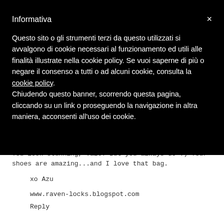Informativa ×
Questo sito o gli strumenti terzi da questo utilizzati si avvalgono di cookie necessari al funzionamento ed utili alle finalità illustrate nella cookie policy. Se vuoi saperne di più o negare il consenso a tutti o ad alcuni cookie, consulta la cookie policy.
Chiudendo questo banner, scorrendo questa pagina, cliccando su un link o proseguendo la navigazione in altra maniera, acconsenti all'uso dei cookie.
You look stunning, Vale! But you always do :) Your shoes are amazing...and I love that bag.
xo Azu
www.raven-locks.blogspot.com
Reply
Unknown  August 5, 2015 at 5:03 PM